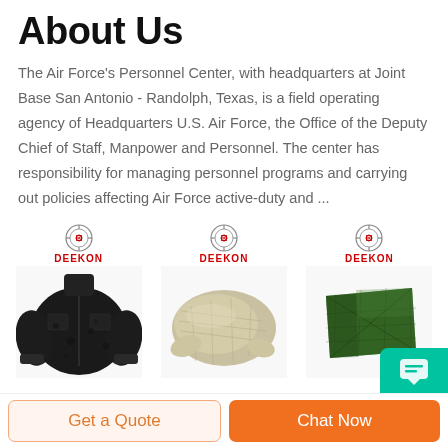About Us
The Air Force's Personnel Center, with headquarters at Joint Base San Antonio - Randolph, Texas, is a field operating agency of Headquarters U.S. Air Force, the Office of the Deputy Chief of Staff, Manpower and Personnel. The center has responsibility for managing personnel programs and carrying out policies affecting Air Force active-duty and ...
[Figure (photo): Three product images each with DEEKON branding: a dark multicam military jacket, a tan/grey mesh scarf/sniper veil, and a folded green camouflage netting]
Get a Quote
Chat Now